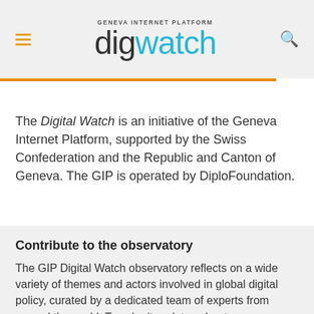GENEVA INTERNET PLATFORM digwatch
The Digital Watch is an initiative of the Geneva Internet Platform, supported by the Swiss Confederation and the Republic and Canton of Geneva. The GIP is operated by DiploFoundation.
Contribute to the observatory
The GIP Digital Watch observatory reflects on a wide variety of themes and actors involved in global digital policy, curated by a dedicated team of experts from around the world. To submit updates about your organisation, or to join our team of